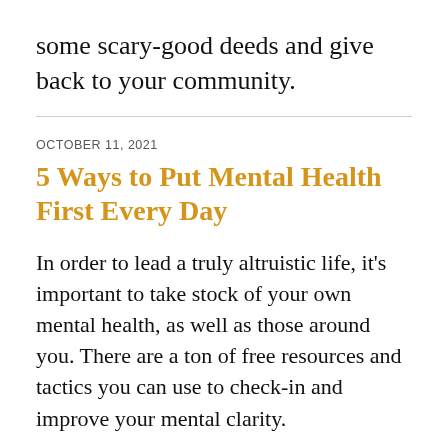some scary-good deeds and give back to your community.
OCTOBER 11, 2021
5 Ways to Put Mental Health First Every Day
In order to lead a truly altruistic life, it’s important to take stock of your own mental health, as well as those around you. There are a ton of free resources and tactics you can use to check-in and improve your mental clarity.